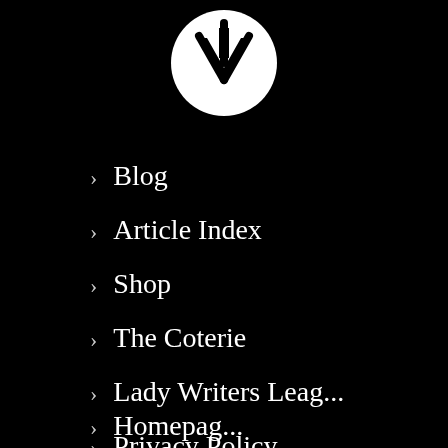[Figure (logo): White circular logo with a stylized letter or symbol in black, resembling a lightning bolt or arrow shape]
> Blog
> Article Index
> Shop
> The Coterie
> Lady Writers Leag...
> Privacy Policy
> Homepage...